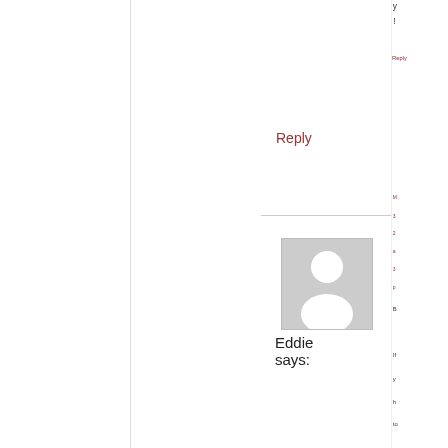y!
Reply
[Figure (illustration): Generic user avatar placeholder - gray square with white silhouette of a person]
Eddie says:
M 3 2 a 3 p B If y h to